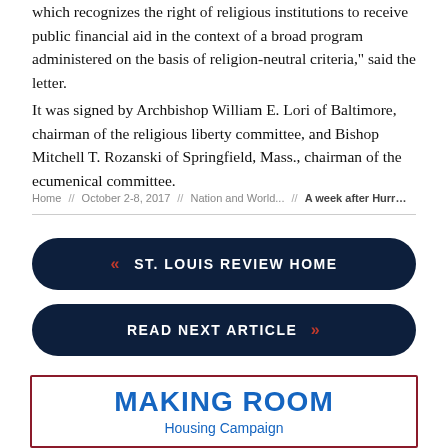which recognizes the right of religious institutions to receive public financial aid in the context of a broad program administered on the basis of religion-neutral criteria," said the letter.
It was signed by Archbishop William E. Lori of Baltimore, chairman of the religious liberty committee, and Bishop Mitchell T. Rozanski of Springfield, Mass., chairman of the ecumenical committee.
Home // October 2-8, 2017 // Nation and World... // A week after Hurr...
« ST. LOUIS REVIEW HOME
READ NEXT ARTICLE »
[Figure (infographic): Making Room Housing Campaign advertisement box with red border, blue bold title 'MAKING ROOM', subtitle 'Housing Campaign', and text 'Your support will provide safe & secure homes']